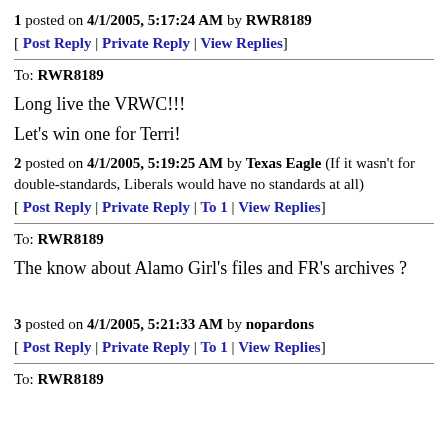1 posted on 4/1/2005, 5:17:24 AM by RWR8189
[ Post Reply | Private Reply | View Replies]
To: RWR8189
Long live the VRWC!!!
Let's win one for Terri!
2 posted on 4/1/2005, 5:19:25 AM by Texas Eagle (If it wasn't for double-standards, Liberals would have no standards at all)
[ Post Reply | Private Reply | To 1 | View Replies]
To: RWR8189
The know about Alamo Girl's files and FR's archives ?
3 posted on 4/1/2005, 5:21:33 AM by nopardons
[ Post Reply | Private Reply | To 1 | View Replies]
To: RWR8189